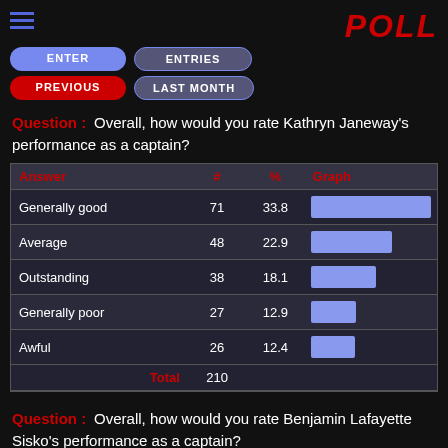POLL
[Figure (other): Navigation buttons: ENTER, ENTRIES, PREVIOUS, LAST MONTH]
Question : Overall, how would you rate Kathryn Janeway's performance as a captain?
| Answer | # | % | Graph |
| --- | --- | --- | --- |
| Generally good | 71 | 33.8 |  |
| Average | 48 | 22.9 |  |
| Outstanding | 38 | 18.1 |  |
| Generally poor | 27 | 12.9 |  |
| Awful | 26 | 12.4 |  |
| Total | 210 |  |  |
Question : Overall, how would you rate Benjamin Lafayette Sisko's performance as a captain?